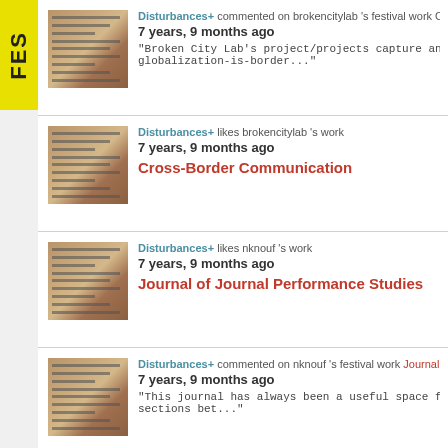FES
Disturbances+ commented on brokencitylab 's festival work C
7 years, 9 months ago
"Broken City Lab's project/projects capture and a... globalization-is-border..."
Disturbances+ likes brokencitylab 's work
7 years, 9 months ago
Cross-Border Communication
Disturbances+ likes nknouf 's work
7 years, 9 months ago
Journal of Journal Performance Studies
Disturbances+ commented on nknouf 's festival work Journal...
7 years, 9 months ago
"This journal has always been a useful space for c... sections bet..."